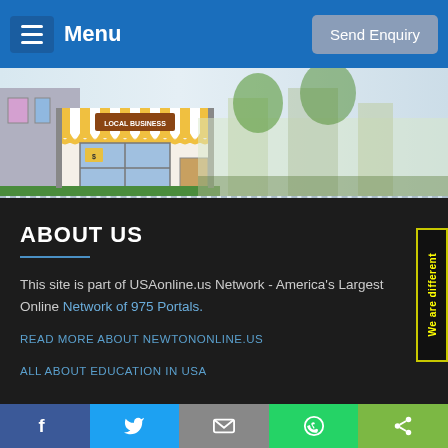Menu | Send Enquiry
[Figure (illustration): Banner showing local business storefront illustration with a cartoon shop with striped awning against a light blue/green background representing a street scene]
ABOUT US
This site is part of USAonline.us Network - America's Largest Online Network of 975 Portals.
READ MORE ABOUT NEWTONONLINE.US
ALL ABOUT EDUCATION IN USA
[Figure (other): Vertical side tab with yellow text reading 'We are different' on black background with yellow border]
USEFUL LINKS
Facebook | Twitter | Email | WhatsApp | Share